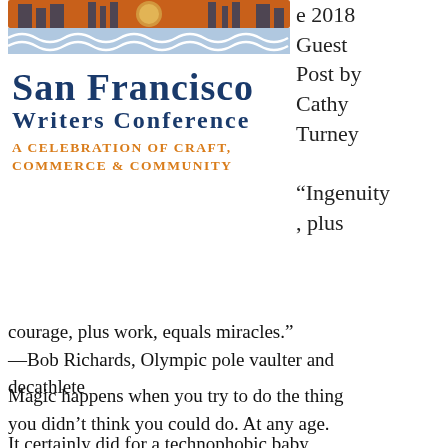[Figure (logo): San Francisco Writers Conference logo with building/bridge graphic, wave pattern, and orange/blue colored banner]
e 2018
Guest Post by Cathy Turney
“Ingenuity, plus courage, plus work, equals miracles.”
—Bob Richards, Olympic pole vaulter and decathlete
Magic happens when you try to do the thing you didn’t think you could do. At any age.
It certainly did for a technophobic baby